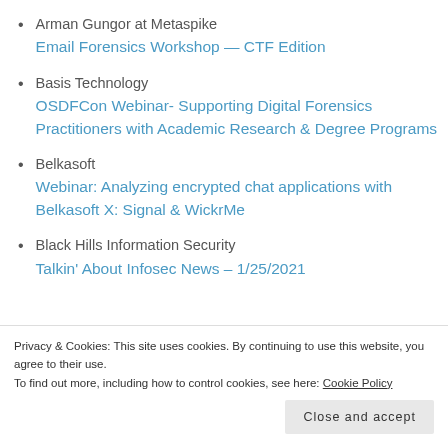Arman Gungor at Metaspike
Email Forensics Workshop — CTF Edition
Basis Technology
OSDFCon Webinar- Supporting Digital Forensics Practitioners with Academic Research & Degree Programs
Belkasoft
Webinar: Analyzing encrypted chat applications with Belkasoft X: Signal & WickrMe
Black Hills Information Security
Talkin' About Infosec News – 1/25/2021
Bret Witt
Privacy & Cookies: This site uses cookies. By continuing to use this website, you agree to their use.
To find out more, including how to control cookies, see here: Cookie Policy
Close and accept